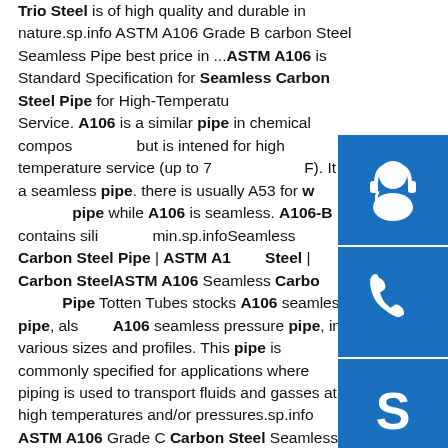Trio Steel is of high quality and durable in nature.sp.info ASTM A106 Grade B carbon Steel Seamless Pipe best price in ...ASTM A106 is Standard Specification for Seamless Carbon Steel Pipe for High-Temperature Service. A106 is a similar pipe in chemical composition but is intened for high temperature service (up to 750 F). It is a seamless pipe. there is usually A53 for welded pipe while A106 is seamless. A106-B contains silicon min.sp.infoSeamless Carbon Steel Pipe | ASTM A106 Steel | Carbon SteelASTM A106 Seamless Carbon Steel Pipe Totten Tubes stocks A106 seamless pipe, also A106 seamless pressure pipe, in various sizes and profiles. This pipe is commonly specified for applications where piping is used to transport fluids and gasses at high temperatures and/or pressures.sp.info ASTM A106 Grade C Carbon Steel Seamless Pipes -TriosteelASTM A106 Grade C Carbon Steel Seamless Pipes. Trio Steel provides a complete range of Carbon Steel Saw Pipe that
[Figure (illustration): Three blue icon boxes stacked vertically: headset/support icon, phone/call icon, and Skype logo icon]